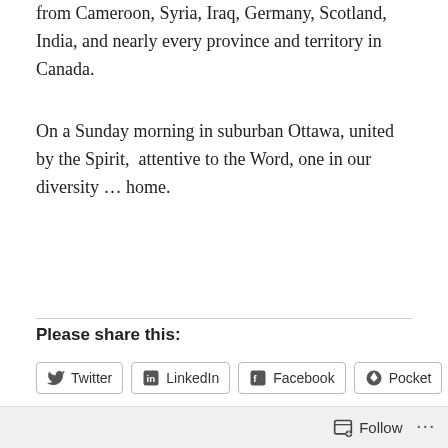from Cameroon, Syria, Iraq, Germany, Scotland, India, and nearly every province and territory in Canada.
On a Sunday morning in suburban Ottawa, united by the Spirit,  attentive to the Word, one in our diversity … home.
Please share this:
Twitter LinkedIn Facebook Pocket Email Print
Loading...